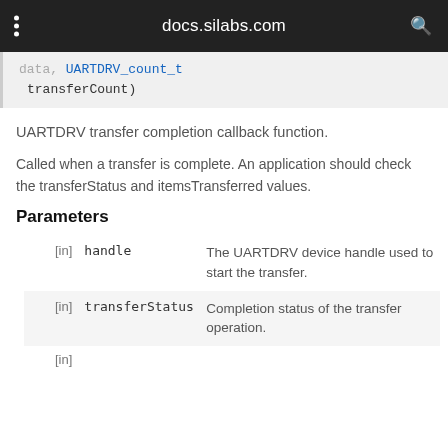docs.silabs.com
data, UARTDRV_count_t transferCount)
UARTDRV transfer completion callback function.
Called when a transfer is complete. An application should check the transferStatus and itemsTransferred values.
Parameters
|  | Name | Description |
| --- | --- | --- |
| [in] | handle | The UARTDRV device handle used to start the transfer. |
| [in] | transferStatus | Completion status of the transfer operation. |
| [in] |  |  |